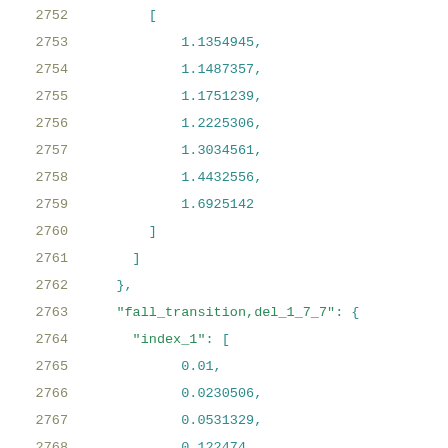2752    [
2753        1.1354945,
2754        1.1487357,
2755        1.1751239,
2756        1.2225306,
2757        1.3034561,
2758        1.4432556,
2759        1.6925142
2760    ]
2761  ]
2762  },
2763  "fall_transition,del_1_7_7": {
2764    "index_1": [
2765        0.01,
2766        0.0230506,
2767        0.0531329,
2768        0.122474,
2769        0.282311,
2770        0.650743,
2771        1.5
2772    ],